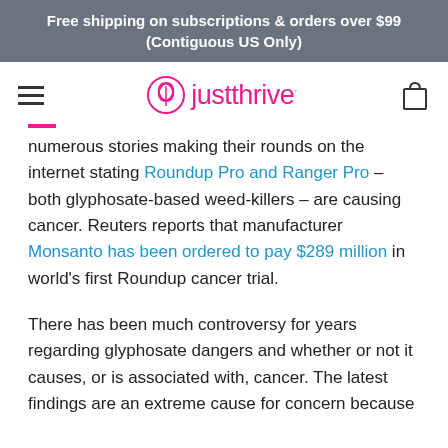Free shipping on subscriptions & orders over $99
(Contiguous US Only)
[Figure (logo): Just Thrive logo with pink leaf icon and pink wordmark 'justthrive' with navigation hamburger menu and cart icon]
numerous stories making their rounds on the internet stating Roundup Pro and Ranger Pro – both glyphosate-based weed-killers – are causing cancer. Reuters reports that manufacturer Monsanto has been ordered to pay $289 million in world's first Roundup cancer trial.
There has been much controversy for years regarding glyphosate dangers and whether or not it causes, or is associated with, cancer. The latest findings are an extreme cause for concern because